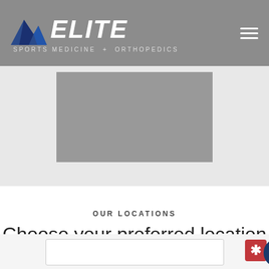[Figure (logo): Elite Sports Medicine + Orthopedics logo with mountain icon, white text on gray background, hamburger menu icon top right]
[Figure (photo): Gray placeholder image box centered on light gray background]
OUR LOCATIONS
Choose your preferred location
[Figure (screenshot): Partial card/box at bottom with Yelp red button and blue accessibility icon]